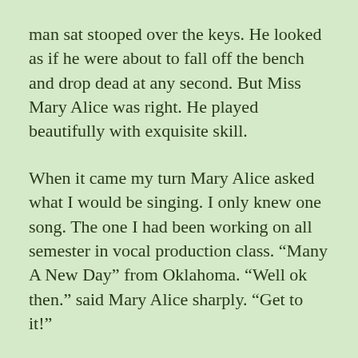man sat stooped over the keys. He looked as if he were about to fall off the bench and drop dead at any second. But Miss Mary Alice was right. He played beautifully with exquisite skill.
When it came my turn Mary Alice asked what I would be singing. I only knew one song. The one I had been working on all semester in vocal production class. “Many A New Day” from Oklahoma. “Well ok then.” said Mary Alice sharply. “Get to it!”
I set my music in front of the ancient accompanist. Maybe he would collapse right then and there thus canceling my musical